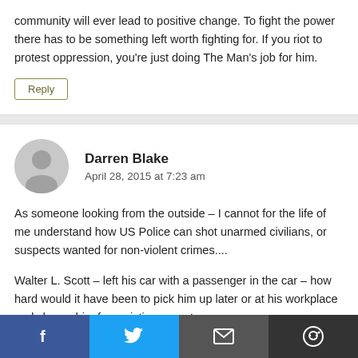no way that rioting violence and destruction on your own community will ever lead to positive change. To fight the power there has to be something left worth fighting for. If you riot to protest oppression, you're just doing The Man's job for him.
Reply
Darren Blake
April 28, 2015 at 7:23 am
As someone looking from the outside – I cannot for the life of me understand how US Police can shot unarmed civilians, or suspects wanted for non-violent crimes....
Walter L. Scott – left his car with a passenger in the car – how hard would it have been to pick him up later or at his workplace and charge him for resisting arrest
[Figure (other): Social share bar with Facebook, Twitter, Email, and Reddit icons]